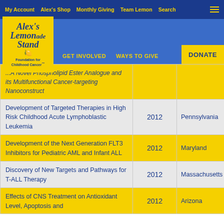My Account | Alex's Shop | Monthly Giving | Team Lemon | Search
[Figure (logo): Alex's Lemonade Stand Foundation for Childhood Cancer logo]
| Title | Year | State |
| --- | --- | --- |
| ... A Novel Phospholipid Ester Analogue and its Multifunctional Cancer-targeting Nanoconstruct |  |  |
| Development of Targeted Therapies in High Risk Childhood Acute Lymphoblastic Leukemia | 2012 | Pennsylvania |
| Development of the Next Generation FLT3 Inhibitors for Pediatric AML and Infant ALL | 2012 | Maryland |
| Discovery of New Targets and Pathways for T-ALL Therapy | 2012 | Massachusetts |
| Effects of CNS Treatment on Antioxidant Level, Apoptosis and ... [cut off] | 2012 | Arizona |